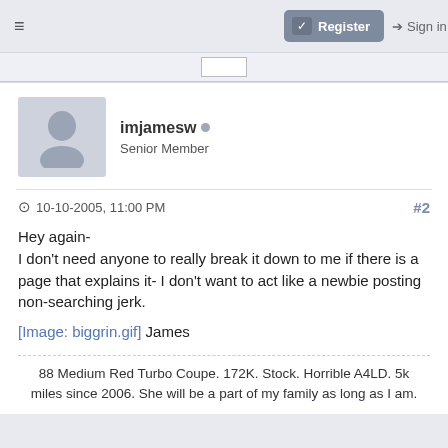≡   ✓ Register   → Sign in
imjamesw • Senior Member
10-10-2005, 11:00 PM   #2
Hey again-
I don't need anyone to really break it down to me if there is a page that explains it- I don't want to act like a newbie posting non-searching jerk.

[Image: biggrin.gif] James
88 Medium Red Turbo Coupe. 172K. Stock. Horrible A4LD. 5k miles since 2006. She will be a part of my family as long as I am.